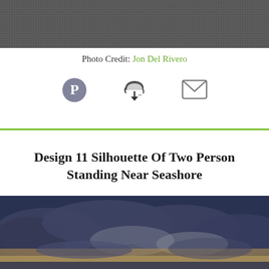[Figure (photo): Top portion of a dark textured photo, showing dark grainy surface (previous image cropped at top)]
Photo Credit: Jon Del Rivero
[Figure (infographic): Three social sharing icons: Pinterest (circle with P), cloud download, and envelope/email icon]
Design 11 Silhouette Of Two Person Standing Near Seashore
[Figure (photo): Dark moody sky with dramatic clouds, warm golden/beige tones on the horizon, dark blue-grey clouds above]